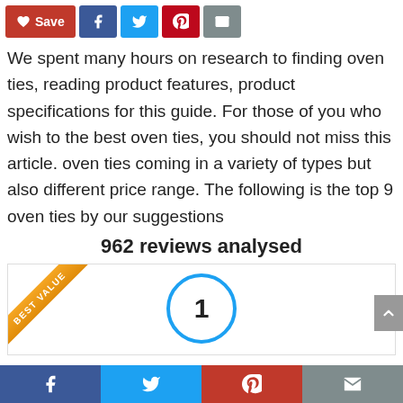[Figure (infographic): Top share bar with Save (red), Facebook (blue), Twitter (light blue), Pinterest (red), and email (grey) buttons]
We spent many hours on research to finding oven ties, reading product features, product specifications for this guide. For those of you who wish to the best oven ties, you should not miss this article. oven ties coming in a variety of types but also different price range. The following is the top 9 oven ties by our suggestions
962 reviews analysed
[Figure (infographic): Card area with a gold 'BEST VALUE' diagonal ribbon in the top-left corner and a circular badge with the number 1 in the center]
[Figure (infographic): Bottom social share bar with Facebook, Twitter, Pinterest, and email icons]